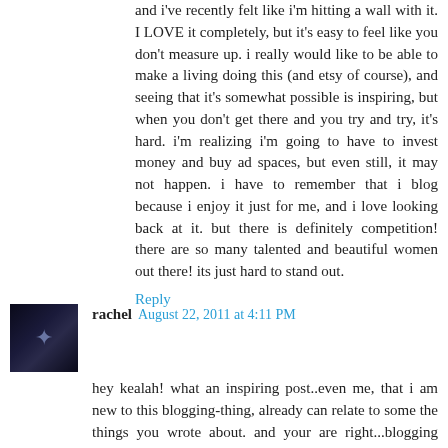and i've recently felt like i'm hitting a wall with it. I LOVE it completely, but it's easy to feel like you don't measure up. i really would like to be able to make a living doing this (and etsy of course), and seeing that it's somewhat possible is inspiring, but when you don't get there and you try and try, it's hard. i'm realizing i'm going to have to invest money and buy ad spaces, but even still, it may not happen. i have to remember that i blog because i enjoy it just for me, and i love looking back at it. but there is definitely competition! there are so many talented and beautiful women out there! its just hard to stand out.
Reply
rachel August 22, 2011 at 4:11 PM
hey kealah! what an inspiring post..even me, that i am new to this blogging-thing, already can relate to some the things you wrote about. and your are right...blogging should just be about the "you and me" and not the hunt for better statistics or anything like that!
i liked your blog from the start and now i even more know why!;)